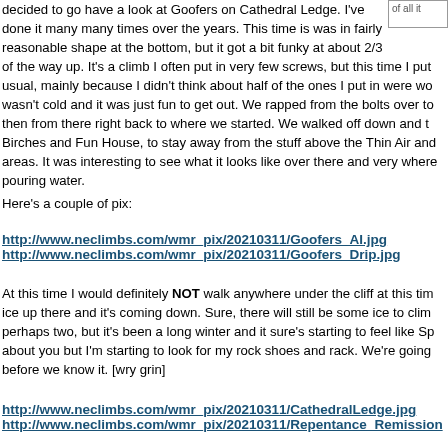decided to go have a look at Goofers on Cathedral Ledge. I've done it many many times over the years. This time is was in fairly reasonable shape at the bottom, but it got a bit funky at about 2/3 of the way up. It's a climb I often put in very few screws, but this time I put usual, mainly because I didn't think about half of the ones I put in were wo wasn't cold and it was just fun to get out. We rapped from the bolts over to then from there right back to where we started. We walked off down and t Birches and Fun House, to stay away from the stuff above the Thin Air an areas. It was interesting to see what it looks like over there and very wher pouring water.
Here's a couple of pix:
http://www.neclimbs.com/wmr_pix/20210311/Goofers_AI.jpg
http://www.neclimbs.com/wmr_pix/20210311/Goofers_Drip.jpg
At this time I would definitely NOT walk anywhere under the cliff at this tim ice up there and it's coming down. Sure, there will still be some ice to clim perhaps two, but it's been a long winter and it sure's starting to feel like Sp about you but I'm starting to look for my rock shoes and rack. We're going before we know it. [wry grin]
http://www.neclimbs.com/wmr_pix/20210311/CathedralLedge.jpg
http://www.neclimbs.com/wmr_pix/20210311/Repentance_Remission